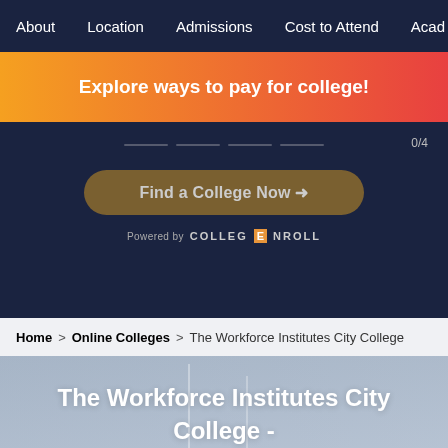About | Location | Admissions | Cost to Attend | Acad
[Figure (screenshot): Orange gradient banner with text: Explore ways to pay for college!]
[Figure (infographic): Dark navy hero section with slide progress indicator 0/4, Find a College Now button, and Powered by COLLEGE NROLL branding]
Home > Online Colleges > The Workforce Institutes City College
The Workforce Institutes City College - Philadelphia,Pennsylvania